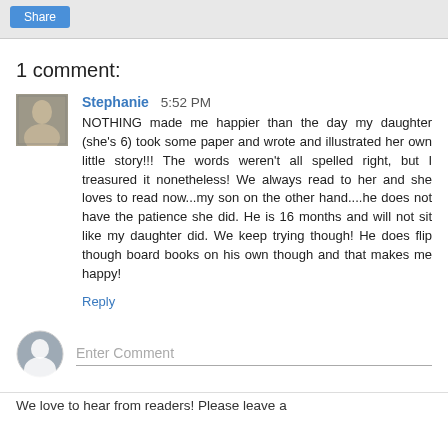1 comment:
Stephanie 5:52 PM
NOTHING made me happier than the day my daughter (she's 6) took some paper and wrote and illustrated her own little story!!! The words weren't all spelled right, but I treasured it nonetheless! We always read to her and she loves to read now...my son on the other hand....he does not have the patience she did. He is 16 months and will not sit like my daughter did. We keep trying though! He does flip though board books on his own though and that makes me happy!
Reply
Enter Comment
We love to hear from readers! Please leave a